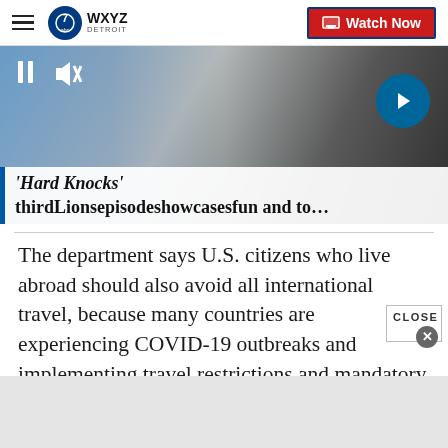WXYZ Detroit — Watch Now
[Figure (screenshot): Video player thumbnail showing football players, with pause and mute controls, a forward arrow button, and a lower-third caption overlay reading 'Hard Knocks' thirdLionsepisodeshowcasesfun and to…]
The department says U.S. citizens who live abroad should also avoid all international travel, because many countries are experiencing COVID-19 outbreaks and implementing travel restrictions and mandatory quarantines, closing borders, and prohibiting non-